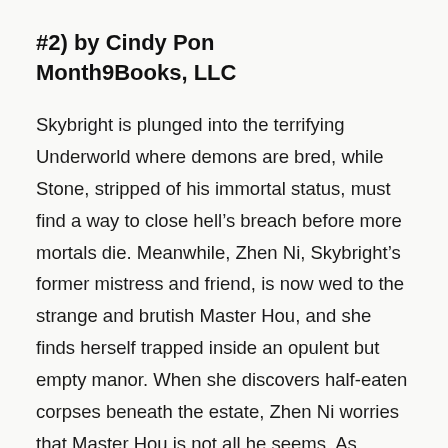#2) by Cindy Pon
Month9Books, LLC
Skybright is plunged into the terrifying Underworld where demons are bred, while Stone, stripped of his immortal status, must find a way to close hell’s breach before more mortals die. Meanwhile, Zhen Ni, Skybright’s former mistress and friend, is now wed to the strange and brutish Master Hou, and she finds herself trapped inside an opulent but empty manor. When she discovers half-eaten corpses beneath the estate, Zhen Ni worries that Master Hou is not all he seems. As Skybright begins the dangerous work of freeing Zhen Ni with the aid of Kai Sen and Stone…